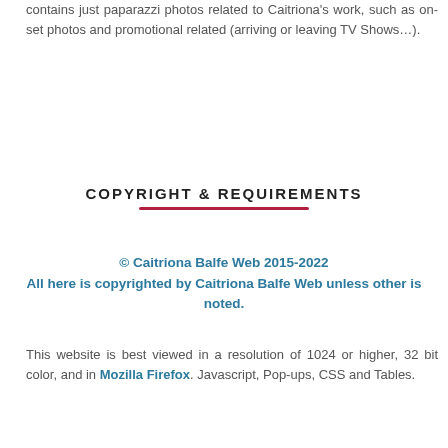contains just paparazzi photos related to Caitriona's work, such as on-set photos and promotional related (arriving or leaving TV Shows…).
COPYRIGHT & REQUIREMENTS
© Caitriona Balfe Web 2015-2022
All here is copyrighted by Caitriona Balfe Web unless other is noted.
This website is best viewed in a resolution of 1024 or higher, 32 bit color, and in Mozilla Firefox. Javascript, Pop-ups, CSS and Tables.